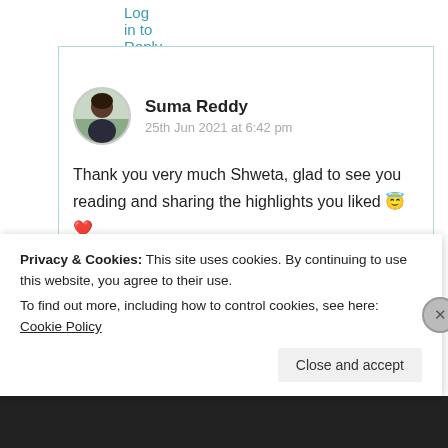Log in to Reply
Suma Reddy
25th Jun 2021 at 6:42 pm

Thank you very much Shweta, glad to see you reading and sharing the highlights you liked 😇❤️

★ Liked by 2 people
Privacy & Cookies: This site uses cookies. By continuing to use this website, you agree to their use.
To find out more, including how to control cookies, see here: Cookie Policy
Close and accept